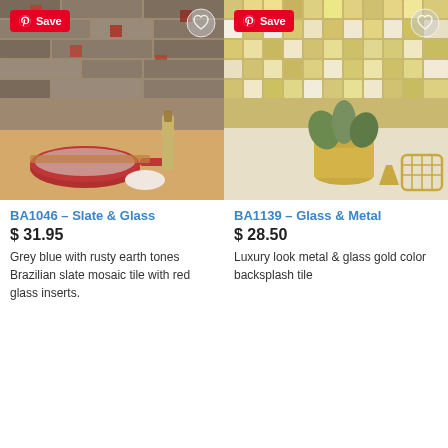[Figure (photo): Slate and glass mosaic tile backsplash with kitchen scene featuring red cookware, wine bottle, and kitchen accessories]
BA1046 – Slate & Glass
$ 31.95
Grey blue with rusty earth tones Brazilian slate mosaic tile with red glass inserts.
[Figure (photo): Gold glass and metal mosaic tile backsplash with gold plant pot and decorative vase accessories]
BA1139 – Glass & Metal
$ 28.50
Luxury look metal & glass gold color backsplash tile